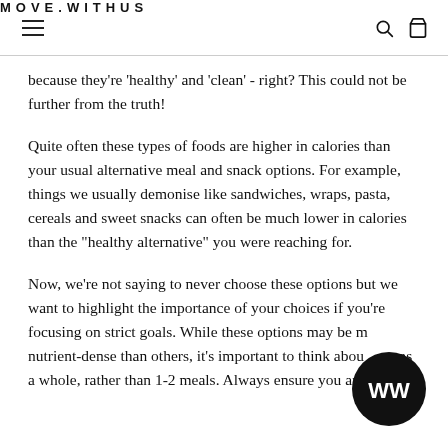MOVE.WITHUS
because they're 'healthy' and 'clean' - right? This could not be further from the truth!
Quite often these types of foods are higher in calories than your usual alternative meal and snack options. For example, things we usually demonise like sandwiches, wraps, pasta, cereals and sweet snacks can often be much lower in calories than the "healthy alternative" you were reaching for.
Now, we're not saying to never choose these options but we want to highlight the importance of your choices if you're focusing on strict goals. While these options may be more nutrient-dense than others, it's important to think about diet as a whole, rather than 1-2 meals. Always ensure you are
[Figure (logo): Circular black badge with white stylized M/W logo mark for MOVE.WITHUS brand]